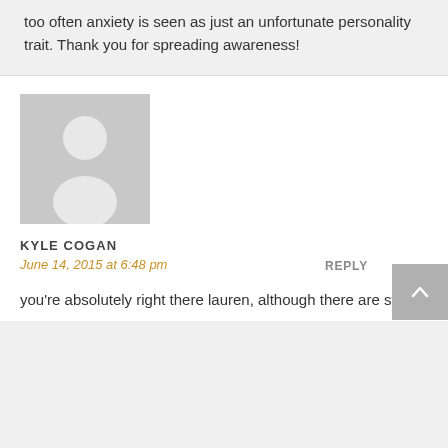too often anxiety is seen as just an unfortunate personality trait. Thank you for spreading awareness!
[Figure (illustration): Generic grey avatar placeholder image showing a silhouette of a person (head and shoulders) in white on grey background]
KYLE COGAN
June 14, 2015 at 6:48 pm
REPLY
you're absolutely right there lauren, although there are still